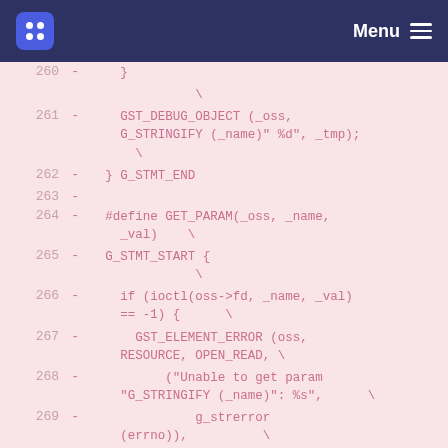Menu
260  -    }
          \
261  -    GST_DEBUG_OBJECT (_oss,
     G_STRINGIFY (_name)" %d", _tmp);
          \
262  -  } G_STMT_END
263  -
264  -  #define GET_PARAM(_oss, _name,
     _val)    \
265  -  G_STMT_START {          \
266  -    if (ioctl(oss->fd, _name, _val)
     == -1) {      \
267  -      GST_ELEMENT_ERROR (oss,
     RESOURCE, OPEN_READ, \
268  -          ("Unable to get param
     "G_STRINGIFY (_name)": %s",     \
269  -              g_strerror
     (errno)),          \
270  -      (NULL));